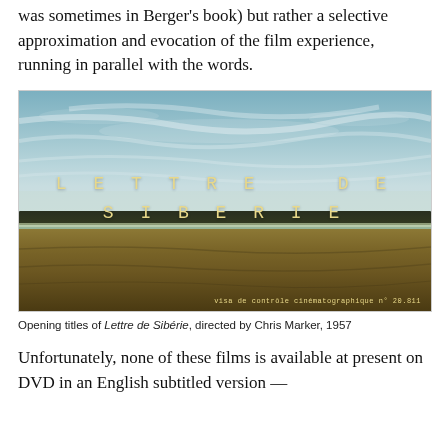was sometimes in Berger's book) but rather a selective approximation and evocation of the film experience, running in parallel with the words.
[Figure (photo): Opening title card of the film Lettre de Sibérie by Chris Marker (1957). Wide landscape shot showing a large sky with streaky clouds over a flat Siberian plain with a treeline at the horizon. The title 'LETTRE DE SIBERIE' is displayed in spaced cream/yellow monospaced letters in the center of the frame. A stamp reads 'visa de contrôle cinématographique n° 20.911' in the bottom right corner.]
Opening titles of Lettre de Sibérie, directed by Chris Marker, 1957
Unfortunately, none of these films is available at present on DVD in an English subtitled version —